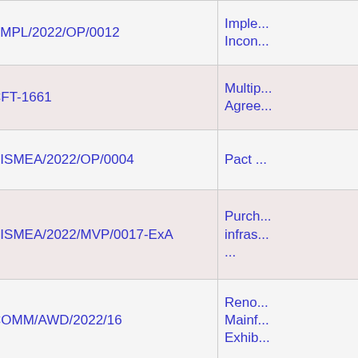| Reference | Description |
| --- | --- |
| EMPL/2022/OP/0012 | Imple...
Incon... |
| CFT-1661 | Multip...
Agree... |
| EISMEA/2022/OP/0004 | Pact ... |
| EISMEA/2022/MVP/0017-ExA | Purch...
infras...
... |
| COMM/AWD/2022/16 | Reno...
Mainf...
Exhib... |
| NEAR/TGD/2022/EA-OP/0097 | Provi...
for m... |
| EEAS/DELAUTV/2022/OP/0034 | Provi...
to the... |
| COMM/DUB/2022/RP/0377 | Secu... |